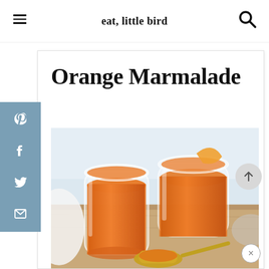eat, little bird
Orange Marmalade
[Figure (photo): Two glass jars filled with orange marmalade on a wooden cutting board, with a spoon dripping marmalade in the foreground. Light, bright background.]